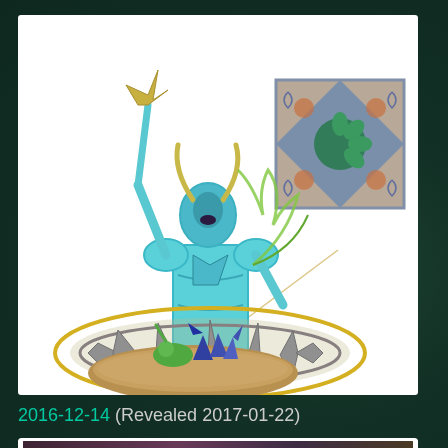[Figure (photo): Warhammer miniature figure: a tall blue and teal armored figure with horns and weapons raised, shown with detached base. An inset zoomed image shows a decorative tile/base detail with a green chaos star symbol on an ornate blue and copper patterned square. A yellow ellipse highlights the circular base ring. Below the main figure is a separate base piece with a small green creature and blue spiky decoration on a sandy oval base.]
2016-12-14 (Revealed 2017-01-22)
[Figure (photo): Partial view of another Warhammer miniature or terrain piece, showing dark purple/green colors, partially cut off at bottom of page.]